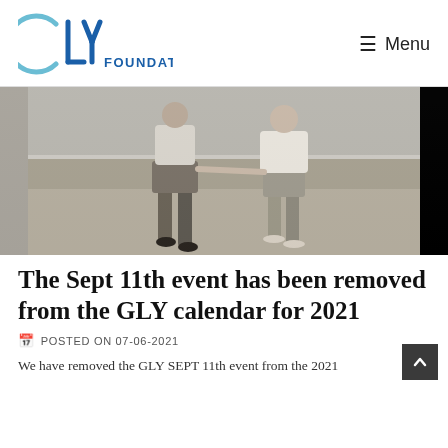GLY FOUNDATION — Menu
[Figure (photo): Two people holding hands walking on a beach, viewed from behind, black and white / sepia photograph]
The Sept 11th event has been removed from the GLY calendar for 2021
POSTED ON 07-06-2021
We have removed the GLY SEPT 11th event from the 2021 calendar.